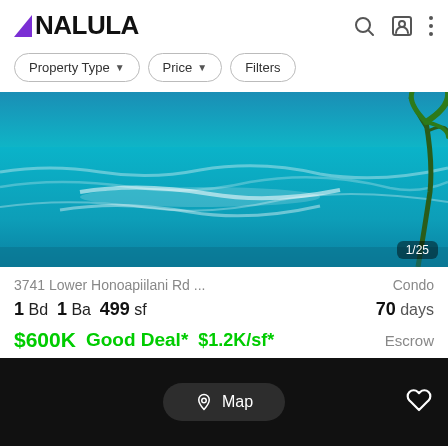NALULA
Property Type  Price  Filters
[Figure (photo): Ocean/coastal property photo showing turquoise blue water with wave whitecaps and a palm tree on the right edge. Image counter showing 1/25 in bottom right corner.]
3741 Lower Honoapiilani Rd ...   Condo
1 Bd  1 Ba  499 sf   70 days
$600K  Good Deal*  $1.2K/sf*   Escrow
Map